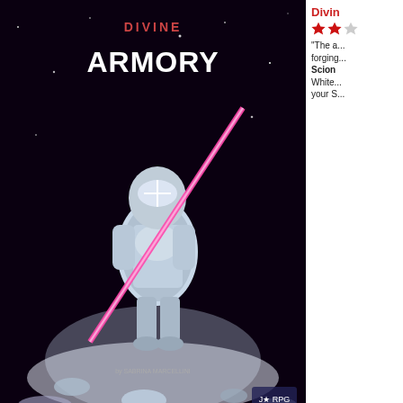[Figure (photo): Cover image of 'Divine Armory' showing armored figure with sword in space setting]
Divine Armory
"The a... forging... Scion... White... your S...
[Figure (photo): Cover image of a Dragon product showing woman with purple hair holding a spear, blue outfit, red background]
Drag...
For a t... jade, s... comm... bloodli... this tin... from w...
[Figure (photo): Cover image of third Dragon product showing people near buildings/towers]
Drag...
For a...